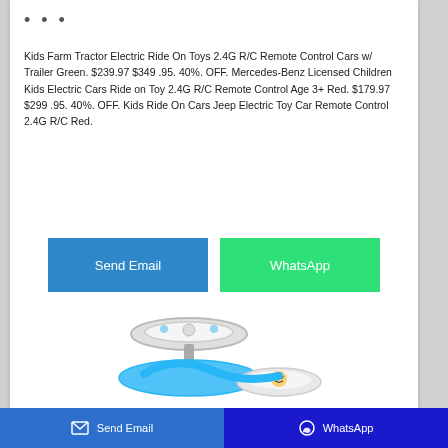• • •
Kids Farm Tractor Electric Ride On Toys 2.4G R/C Remote Control Cars w/ Trailer Green. $239.97 $349 .95. 40%. OFF. Mercedes-Benz Licensed Children Kids Electric Cars Ride on Toy 2.4G R/C Remote Control Age 3+ Red. $179.97 $299 .95. 40%. OFF. Kids Ride On Cars Jeep Electric Toy Car Remote Control 2.4G R/C Red.
[Figure (screenshot): Send Email button (blue) and WhatsApp button (green)]
[Figure (photo): Blue children's ride-on toy with cartoon character decoration, showing steering wheel/seat area]
Send Email | WhatsApp